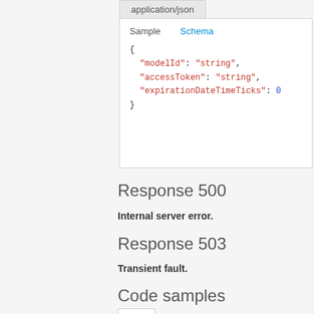[Figure (screenshot): Tab showing 'application/json' inactive tab at top of a code sample box]
Sample    Schema
{
  "modelId": "string",
  "accessToken": "string",
  "expirationDateTimeTicks": 0
}
Response 500
Internal server error.
Response 503
Transient fault.
Code samples
Curl    C#    Java    JavaScript